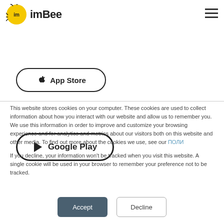imBee
[Figure (logo): imBee logo with yellow bee icon and bold imBee text]
[Figure (screenshot): App Store button (partially visible at top)]
[Figure (screenshot): Google Play button with play icon]
This website stores cookies on your computer. These cookies are used to collect information about how you interact with our website and allow us to remember you. We use this information in order to improve and customize your browsing experience and for analytics and metrics about our visitors both on this website and other media. To find out more about the cookies we use, see our ПОЛИТИКА
If you decline, your information won’t be tracked when you visit this website. A single cookie will be used in your browser to remember your preference not to be tracked.
Accept
Decline